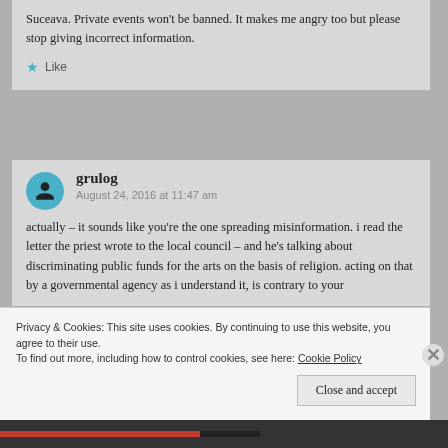Suceava. Private events won't be banned. It makes me angry too but please stop giving incorrect information.
Like
grulog
August 24, 2016 at 11:47 am
actually – it sounds like you're the one spreading misinformation. i read the letter the priest wrote to the local council – and he's talking about discriminating public funds for the arts on the basis of religion. acting on that by a governmental agency as i understand it, is contrary to your...
Privacy & Cookies: This site uses cookies. By continuing to use this website, you agree to their use.
To find out more, including how to control cookies, see here: Cookie Policy
Close and accept